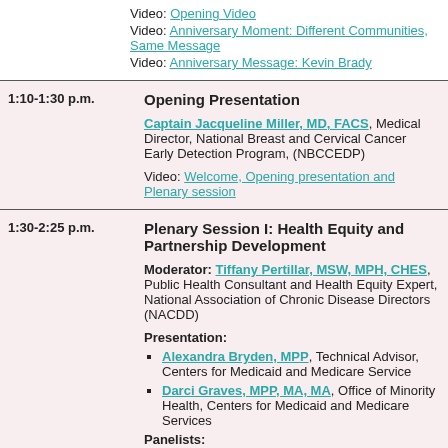Video: Opening Video
Video: Anniversary Moment: Different Communities, Same Message
Video: Anniversary Message: Kevin Brady
1:10-1:30 p.m.
Opening Presentation
Captain Jacqueline Miller, MD, FACS, Medical Director, National Breast and Cervical Cancer Early Detection Program, (NBCCEDP)
Video: Welcome, Opening presentation and Plenary session
1:30-2:25 p.m.
Plenary Session I: Health Equity and Partnership Development
Moderator: Tiffany Pertillar, MSW, MPH, CHES, Public Health Consultant and Health Equity Expert, National Association of Chronic Disease Directors (NACDD)
Presentation:
Alexandra Bryden, MPP, Technical Advisor, Centers for Medicaid and Medicare Service
Darci Graves, MPP, MA, MA, Office of Minority Health, Centers for Medicaid and Medicare Services
Panelists: